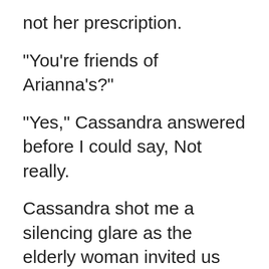not her prescription.
"You're friends of Arianna's?"
"Yes," Cassandra answered before I could say, Not really.
Cassandra shot me a silencing glare as the elderly woman invited us inside.
"I'm sorry I was rude, but there are stories about this house, and all those damnable ghost walk tours stop outside and stare at us. Some rude people even ring the doorbell and ask to see the room where it happened."
"Where what happened?" I asked.